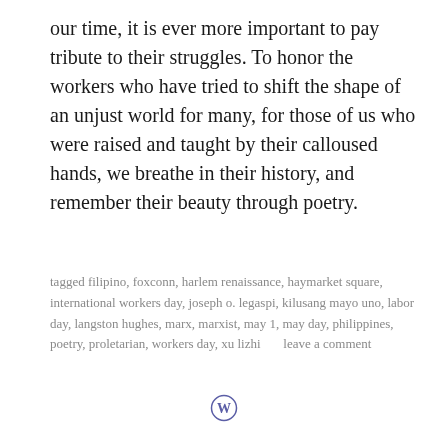our time, it is ever more important to pay tribute to their struggles. To honor the workers who have tried to shift the shape of an unjust world for many, for those of us who were raised and taught by their calloused hands, we breathe in their history, and remember their beauty through poetry.
tagged filipino, foxconn, harlem renaissance, haymarket square, international workers day, joseph o. legaspi, kilusang mayo uno, labor day, langston hughes, marx, marxist, may 1, may day, philippines, poetry, proletarian, workers day, xu lizhi      leave a comment
[Figure (logo): WordPress logo icon — circular W symbol in purple/indigo outline]